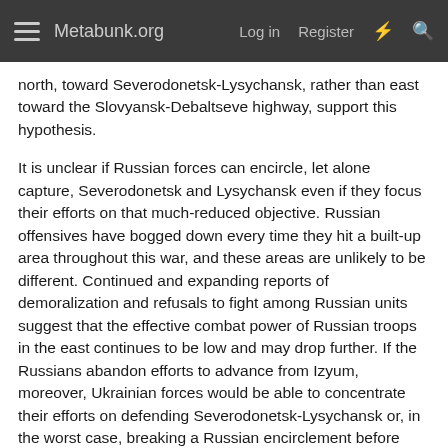Metabunk.org  Log in  Register
north, toward Severodonetsk-Lysychansk, rather than east toward the Slovyansk-Debaltseve highway, support this hypothesis.
It is unclear if Russian forces can encircle, let alone capture, Severodonetsk and Lysychansk even if they focus their efforts on that much-reduced objective. Russian offensives have bogged down every time they hit a built-up area throughout this war, and these areas are unlikely to be different. Continued and expanding reports of demoralization and refusals to fight among Russian units suggest that the effective combat power of Russian troops in the east continues to be low and may drop further. If the Russians abandon efforts to advance from Izyum, moreover, Ukrainian forces would be able to concentrate their efforts on defending Severodonetsk-Lysychansk or, in the worst case, breaking a Russian encirclement before those settlements fall.
The Ukrainian counteroffensive around Kharkiv is also